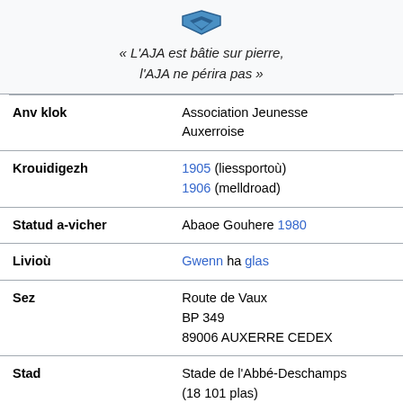[Figure (logo): AJA (Association Jeunesse Auxerroise) shield/chevron logo in blue]
« L'AJA est bâtie sur pierre, l'AJA ne périra pas »
| Anv klok | Association Jeunesse Auxerroise |
| Krouidigezh | 1905 (liessportoù)
1906 (melldroad) |
| Statud a-vicher | Abaoe Gouhere 1980 |
| Livioù | Gwenn ha glas |
| Sez | Route de Vaux
BP 349
89006 AUXERRE CEDEX |
| Stad | Stade de l'Abbé-Deschamps
(18 101 plas) |
| Darr | 32 500 prueter |